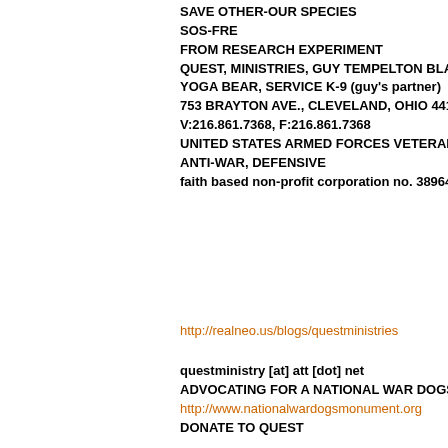SAVE OTHER-OUR SPECIES
SOS-FRE
FROM RESEARCH EXPERIMENT
QUEST, MINISTRIES, GUY TEMPELTON BLACK,
YOGA BEAR, SERVICE K-9 (guy's partner)
753 BRAYTON AVE., CLEVELAND, OHIO 44113-4
V:216.861.7368, F:216.861.7368
UNITED STATES ARMED FORCES VETERAN (VO
ANTI-WAR, DEFENSIVE
faith based non-profit corporation no. 389646, 50
http://realneo.us/blogs/questministries
questministry [at] att [dot] net
ADVOCATING FOR A NATIONAL WAR DOGS MEM
http://www.nationalwardogsmonument.org
DONATE TO QUEST